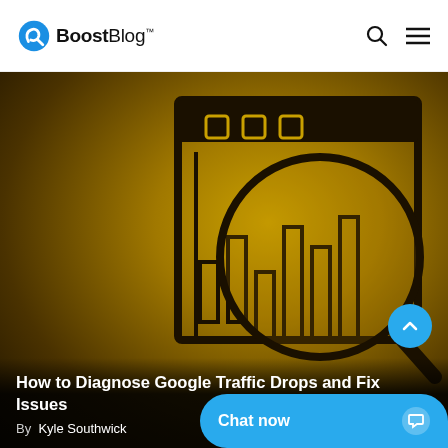BoostBlog™
[Figure (illustration): Blog article hero image with golden/dark gradient background showing a browser window outline containing a bar chart with a magnifying glass over it, illustrating web traffic analysis. Title overlay reads 'How to Diagnose Google Traffic Drops and Fix Issues' by Kyle Southwick.]
How to Diagnose Google Traffic Drops and Fix Issues
By  Kyle Southwick